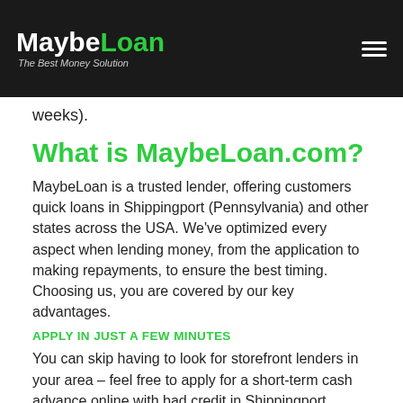MaybeLoan – The Best Money Solution
weeks).
What is MaybeLoan.com?
MaybeLoan is a trusted lender, offering customers quick loans in Shippingport (Pennsylvania) and other states across the USA. We've optimized every aspect when lending money, from the application to making repayments, to ensure the best timing. Choosing us, you are covered by our key advantages.
APPLY IN JUST A FEW MINUTES
You can skip having to look for storefront lenders in your area – feel free to apply for a short-term cash advance online with bad credit in Shippingport (Pennsylvania) or any other city.